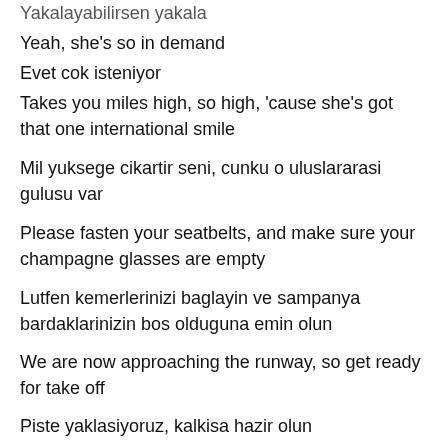Yakalayabilirsen yakala
Yeah, she's so in demand
Evet cok isteniyor
Takes you miles high, so high, 'cause she's got that one international smile
Mil yuksege cikartir seni, cunku o uluslararasi gulusu var
Please fasten your seatbelts, and make sure your champagne glasses are empty
Lutfen kemerlerinizi baglayin ve sampanya bardaklarinizin bos olduguna emin olun
We are now approaching the runway, so get ready for take off
Piste yaklasiyoruz, kalkisa hazir olun
That girl's a trip, a one way ticket
O kiz bir gezi, tek yon bileti
Takes you miles high, so high, 'cause she's got that one international smile
Mil yuksege cikartir seni, cunku o uluslararasi gulusu